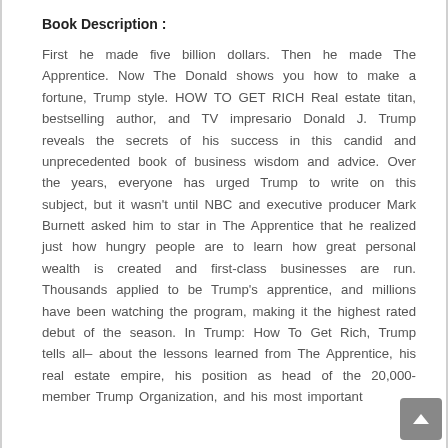Book Description :
First he made five billion dollars. Then he made The Apprentice. Now The Donald shows you how to make a fortune, Trump style. HOW TO GET RICH Real estate titan, bestselling author, and TV impresario Donald J. Trump reveals the secrets of his success in this candid and unprecedented book of business wisdom and advice. Over the years, everyone has urged Trump to write on this subject, but it wasn't until NBC and executive producer Mark Burnett asked him to star in The Apprentice that he realized just how hungry people are to learn how great personal wealth is created and first-class businesses are run. Thousands applied to be Trump's apprentice, and millions have been watching the program, making it the highest rated debut of the season. In Trump: How To Get Rich, Trump tells all– about the lessons learned from The Apprentice, his real estate empire, his position as head of the 20,000-member Trump Organization, and his most important